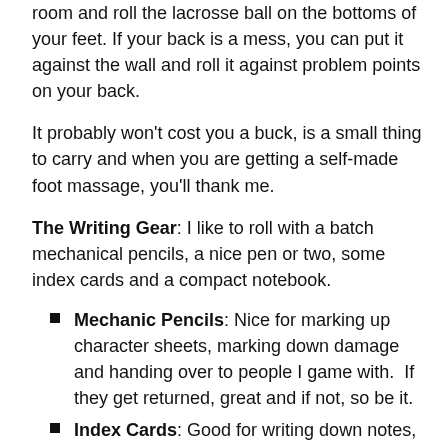room and roll the lacrosse ball on the bottoms of your feet. If your back is a mess, you can put it against the wall and roll it against problem points on your back.
It probably won't cost you a buck, is a small thing to carry and when you are getting a self-made foot massage, you'll thank me.
The Writing Gear: I like to roll with a batch mechanical pencils, a nice pen or two, some index cards and a compact notebook.
Mechanic Pencils: Nice for marking up character sheets, marking down damage and handing over to people I game with. If they get returned, great and if not, so be it.
Index Cards: Good for writing down notes, playing